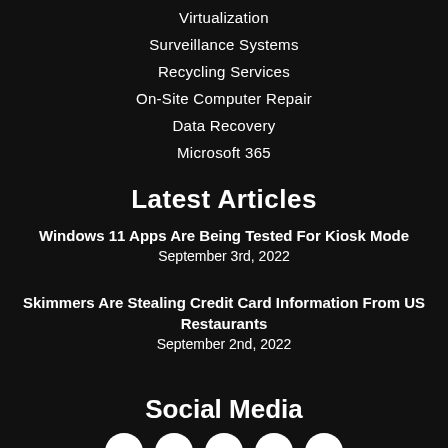Virtualization
Surveillance Systems
Recycling Services
On-Site Computer Repair
Data Recovery
Microsoft 365
Latest Articles
Windows 11 Apps Are Being Tested For Kiosk Mode
September 3rd, 2022
Skimmers Are Stealing Credit Card Information From US Restaurants
September 2nd, 2022
Social Media
[Figure (illustration): Row of circular social media icons at the bottom of the page]